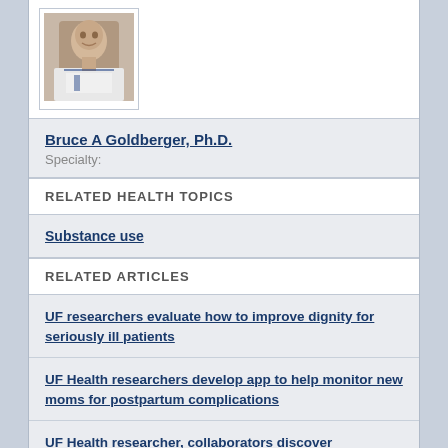[Figure (photo): Headshot photo of Bruce A Goldberger, Ph.D., a middle-aged man in professional attire]
Bruce A Goldberger, Ph.D.
Specialty:
RELATED HEALTH TOPICS
Substance use
RELATED ARTICLES
UF researchers evaluate how to improve dignity for seriously ill patients
UF Health researchers develop app to help monitor new moms for postpartum complications
UF Health researcher, collaborators discover compounds that might boost stroke recovery